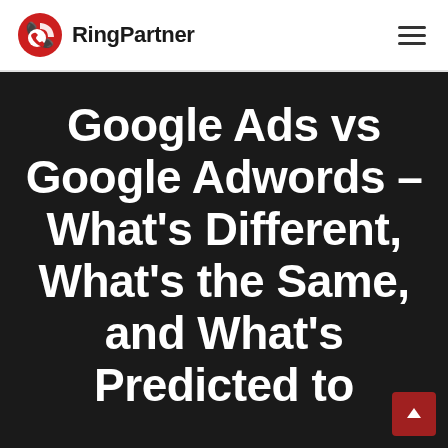RingPartner
Google Ads vs Google Adwords – What's Different, What's the Same, and What's Predicted to